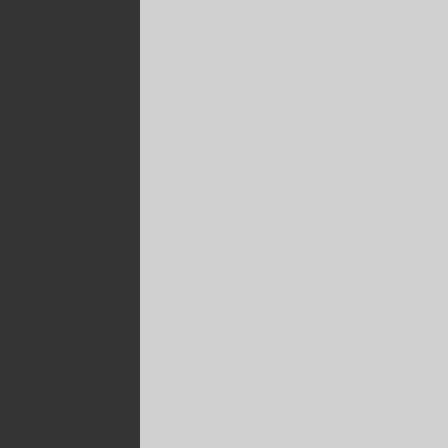is rising production has crea... producers have jacked up pr...
Even the most cursory revi... the EIA, the average global c... follows:
2008: 74.0 million ba...
2009: 72.7 MBD
2010: 74.4 MBD
2011: 74.5 MBD
2012: 75.9 MBD
2013: 76.0 MBD
2014: 76.9 MBD
The EIA estimates the global... Thus we can estimate in a ba... in parallel with the global eco...
In the six years from 2009 to ... cumulative global growth a... year period. What is remarka... modest growth apparently ena... the growth of global GDP in e...